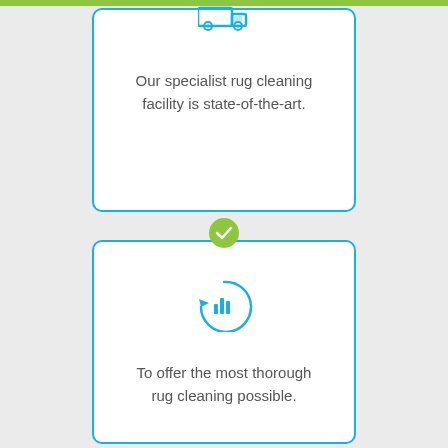[Figure (infographic): Top card with truck icon and text: Our specialist rug cleaning facility is state-of-the-art.]
Our specialist rug cleaning facility is state-of-the-art.
[Figure (infographic): Green checkmark badge between cards]
[Figure (infographic): Bottom card with refresh/stats icon and text: To offer the most thorough rug cleaning possible.]
To offer the most thorough rug cleaning possible.